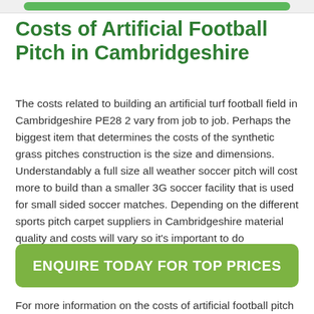Costs of Artificial Football Pitch in Cambridgeshire
The costs related to building an artificial turf football field in Cambridgeshire PE28 2 vary from job to job. Perhaps the biggest item that determines the costs of the synthetic grass pitches construction is the size and dimensions. Understandably a full size all weather soccer pitch will cost more to build than a smaller 3G soccer facility that is used for small sided soccer matches. Depending on the different sports pitch carpet suppliers in Cambridgeshire material quality and costs will vary so it's important to do background checks on these companies.
[Figure (other): Green CTA button: ENQUIRE TODAY FOR TOP PRICES]
For more information on the costs of artificial football pitch installation closest to you, please fill out our contact box provided on this page. One of our experienced professionals will get back to